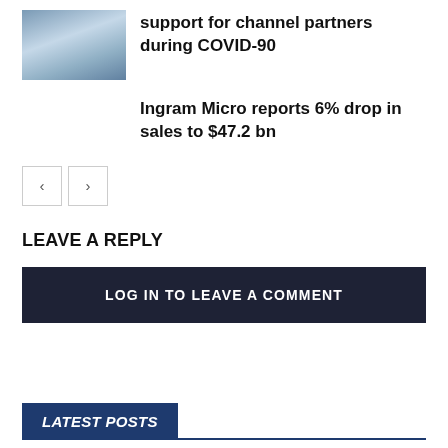[Figure (photo): Thumbnail photo of people at an event or conference]
support for channel partners during COVID-90
Ingram Micro reports 6% drop in sales to $47.2 bn
[Figure (other): Pagination buttons: left arrow and right arrow]
LEAVE A REPLY
LOG IN TO LEAVE A COMMENT
LATEST POSTS